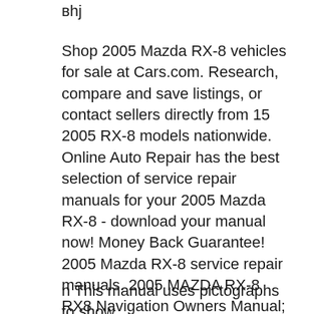вhj
Shop 2005 Mazda RX-8 vehicles for sale at Cars.com. Research, compare and save listings, or contact sellers directly from 15 2005 RX-8 models nationwide. Online Auto Repair has the best selection of service repair manuals for your 2005 Mazda RX-8 - download your manual now! Money Back Guarantee! 2005 Mazda RX-8 service repair manuals. 2005 MAZDA RX-8 RX8 Navigation Owners Manual; 2005 MAZDA RX-8 RX8 Owners Manual ; Mazda RX8 2003 to 2009 Service Repair Manual
n This manual uses pictographs to show